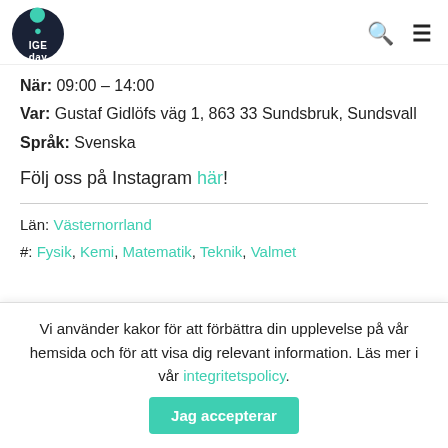IGE day logo, search icon, menu icon
När: 09:00 – 14:00
Var: Gustaf Gidlöfs väg 1, 863 33 Sundsbruk, Sundsvall
Språk: Svenska
Följ oss på Instagram här!
Län: Västernorrland
#: Fysik, Kemi, Matematik, Teknik, Valmet
Vi använder kakor för att förbättra din upplevelse på vår hemsida och för att visa dig relevant information. Läs mer i vår integritetspolicy.
Jag accepterar